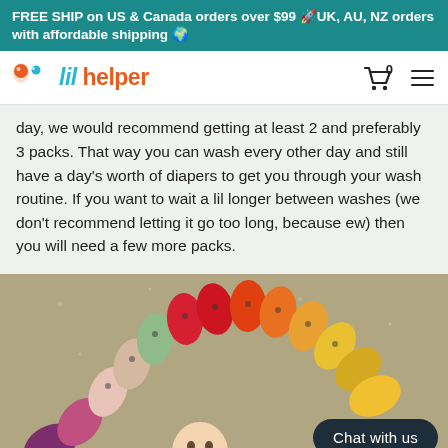FREE SHIP on US & Canada orders over $99 🚀UK, AU, NZ orders with affordable shipping 🌍
[Figure (logo): Lil Helper brand logo with orange and teal icons and stylized text]
day, we would recommend getting at least 2 and preferably 3 packs. That way you can wash every other day and still have a day's worth of diapers to get you through your wash routine. If you want to wait a lil longer between washes (we don't recommend letting it go too long, because ew) then you will need a few more packs.
[Figure (photo): Baby lying under an arch of colorful cloth diapers arranged in a rainbow pattern on a light khaki/olive background]